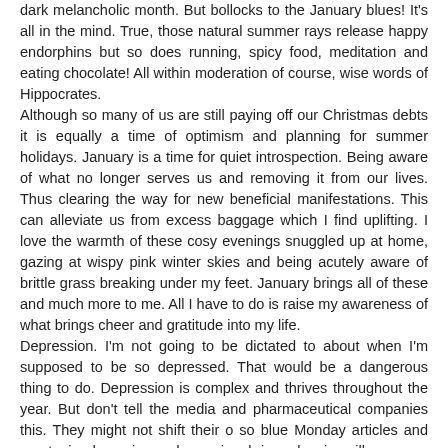dark melancholic month. But bollocks to the January blues! It's all in the mind. True, those natural summer rays release happy endorphins but so does running, spicy food, meditation and eating chocolate! All within moderation of course, wise words of Hippocrates. Although so many of us are still paying off our Christmas debts it is equally a time of optimism and planning for summer holidays. January is a time for quiet introspection. Being aware of what no longer serves us and removing it from our lives. Thus clearing the way for new beneficial manifestations. This can alleviate us from excess baggage which I find uplifting. I love the warmth of these cosy evenings snuggled up at home, gazing at wispy pink winter skies and being acutely aware of brittle grass breaking under my feet. January brings all of these and much more to me. All I have to do is raise my awareness of what brings cheer and gratitude into my life. Depression. I'm not going to be dictated to about when I'm supposed to be so depressed. That would be a dangerous thing to do. Depression is complex and thrives throughout the year. But don't tell the media and pharmaceutical companies this. They might not shift their o so blue Monday articles and serotonin, dopamine and norepinephrine releasing pills. Reflexology is a fab pick me up particularly on the fourth Friday of